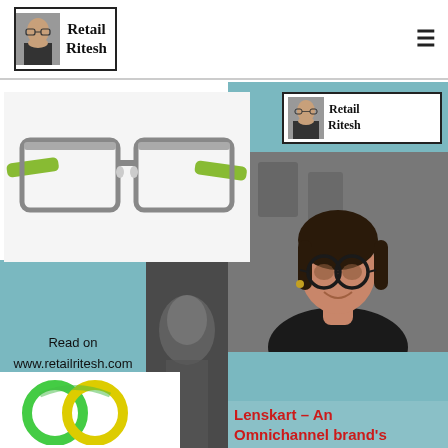[Figure (logo): Retail Ritesh logo with man's face photo inside a bordered box, text reads Retail Ritesh]
[Figure (photo): Eyeglasses with green temples on white background]
[Figure (logo): Retail Ritesh logo repeated inside teal panel]
[Figure (photo): Woman wearing round glasses, smiling, dark top, blurred background]
Read on
www.retailritesh.com
[Figure (logo): Green and yellow interlocking circles logo (Lenskart style) at bottom left]
Lenskart – An Omnichannel brand's